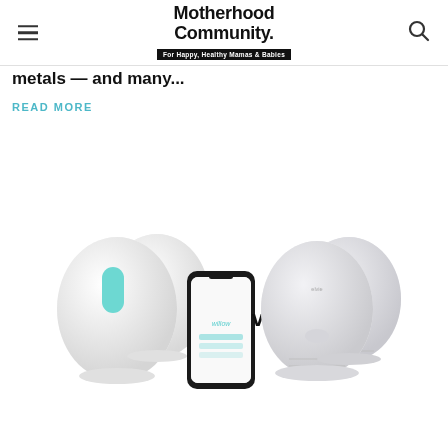Motherhood Community. For Happy, Healthy Mamas & Babies
metals — and many...
READ MORE
[Figure (photo): Two wearable breast pumps (Willow, teal/white egg-shaped devices with app shown) on the left versus two grey wearable breast pumps (Elvie) on the right, with 'vs.' text in between.]